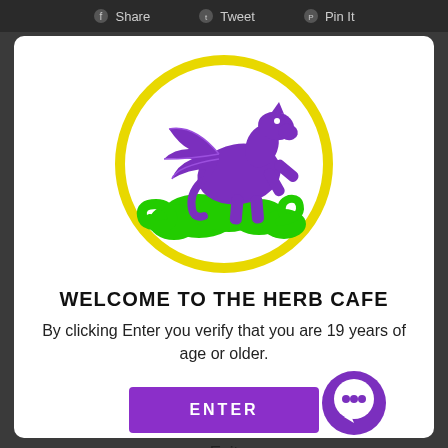Share   Tweet   Pin It
[Figure (logo): Herb Cafe logo: purple winged Pegasus horse above green clouds, inside a yellow circle]
WELCOME TO THE HERB CAFE
By clicking Enter you verify that you are 19 years of age or older.
ENTER
Exit